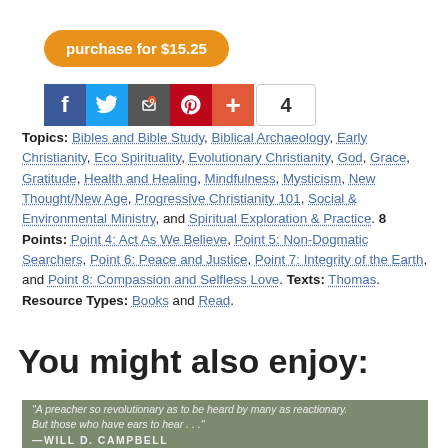purchase for $15.25
[Figure (screenshot): Social sharing buttons: Facebook, Twitter, Email, Pinterest, Plus, with share count of 4]
Topics: Bibles and Bible Study, Biblical Archaeology, Early Christianity, Eco Spirituality, Evolutionary Christianity, God, Grace, Gratitude, Health and Healing, Mindfulness, Mysticism, New Thought/New Age, Progressive Christianity 101, Social & Environmental Ministry, and Spiritual Exploration & Practice. 8 Points: Point 4: Act As We Believe, Point 5: Non-Dogmatic Searchers, Point 6: Peace and Justice, Point 7: Integrity of the Earth, and Point 8: Compassion and Selfless Love. Texts: Thomas. Resource Types: Books and Read.
You might also enjoy:
[Figure (photo): Book preview image with olive/green background showing quote: 'A preacher so revolutionary as to be heard by many as reactionary. But those who have ears to hear…' — WILL D. CAMPBELL]